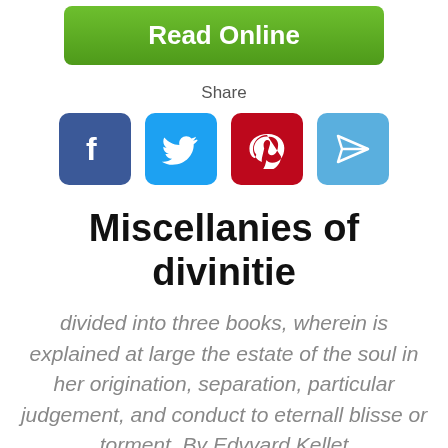[Figure (other): Green 'Read Online' button]
Share
[Figure (other): Social sharing icons: Facebook, Twitter, Pinterest, and a send/share icon]
Miscellanies of divinitie
divided into three books, wherein is explained at large the estate of the soul in her origination, separation, particular judgement, and conduct to eternall blisse or torment. By Edvvard Kellet